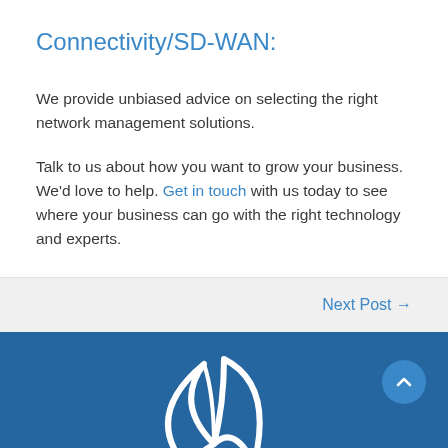Connectivity/SD-WAN:
We provide unbiased advice on selecting the right network management solutions.
Talk to us about how you want to grow your business. We'd love to help. Get in touch with us today to see where your business can go with the right technology and experts.
Next Post →
[Figure (logo): White stylized flame/bird logo on dark blue background with back-to-top button]